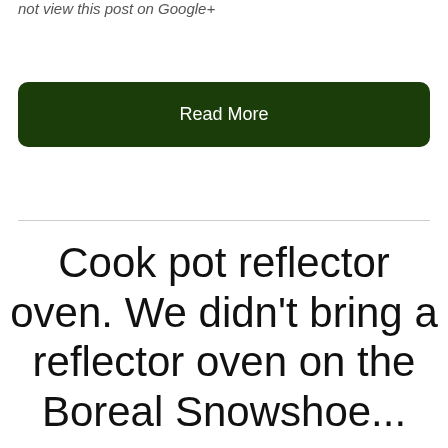not view this post on Google+
Read More
Cook pot reflector oven. We didn't bring a reflector oven on the Boreal Snowshoe...